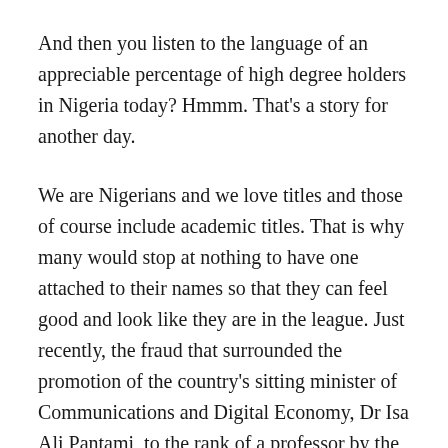And then you listen to the language of an appreciable percentage of high degree holders in Nigeria today? Hmmm. That's a story for another day.
We are Nigerians and we love titles and those of course include academic titles. That is why many would stop at nothing to have one attached to their names so that they can feel good and look like they are in the league. Just recently, the fraud that surrounded the promotion of the country's sitting minister of Communications and Digital Economy, Dr Isa Ali Pantami, to the rank of a professor by the Federal University of Technology, (FUTO), Owerri nearly broke the internet and has continued to raise a lot of dust.
This is an incomplete sentence that is cut off at the bottom of the page...